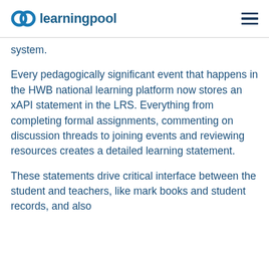learningpool
system.
Every pedagogically significant event that happens in the HWB national learning platform now stores an xAPI statement in the LRS. Everything from completing formal assignments, commenting on discussion threads to joining events and reviewing resources creates a detailed learning statement.
These statements drive critical interface between the student and teachers, like mark books and student records, and also